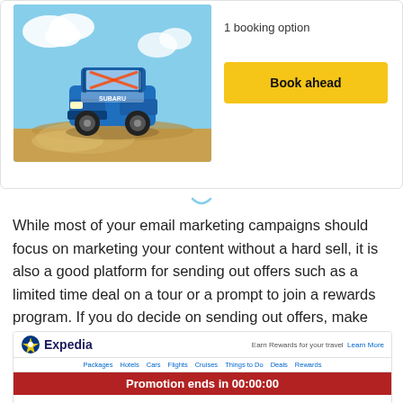[Figure (screenshot): Partial view of a travel booking card showing a blue rally car jumping in mid-air, with '1 booking option' text and a yellow 'Book ahead' button]
While most of your email marketing campaigns should focus on marketing your content without a hard sell, it is also a good platform for sending out offers such as a limited time deal on a tour or a prompt to join a rewards program. If you do decide on sending out offers, make sure to create a sense of urgency in either the subject line or email body itself. See the below email from for an example!
[Figure (screenshot): Expedia email screenshot showing the Expedia logo, navigation links (Packages, Hotels, Cars, Flights, Cruises, Things to Do, Deals, Rewards), 'Earn Rewards for your travel. Learn More' text, and a red promotional bar reading 'Promotion ends in 00:00:00']